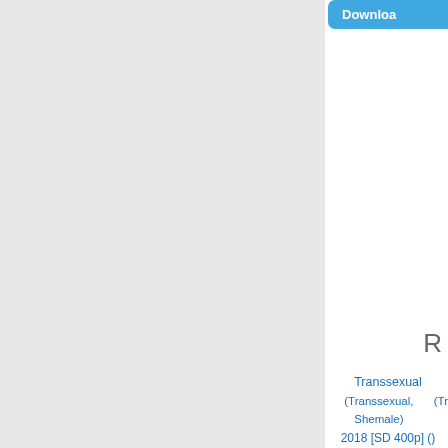[Figure (screenshot): Partial screenshot of a website showing a blue Download button at top right, a grey left sidebar, a letter R visible at mid-right, and metadata links including Transsexual, (Transsexual, Shemale), (Tr..., 2018 [SD 400p] (), Posted in, Medium Quality Porno, M...]
Transsexual
(Transsexual, Shemale)   (Tr
2018 [SD 400p] ()
Posted in
Medium Quality Porno   M